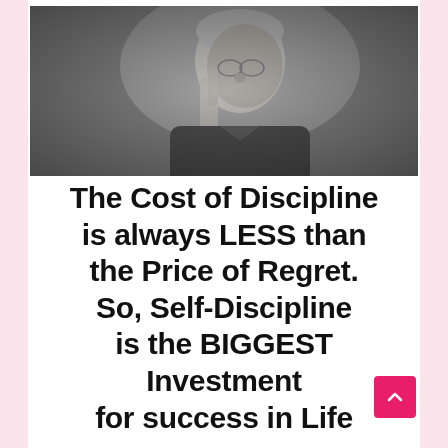[Figure (photo): Black and white photograph of an elderly man (APJ Abdul Kalam) pointing upward with one finger, wearing a jacket, in a contemplative pose]
The Cost of Discipline is always LESS than the Price of Regret. So, Self-Discipline is the BIGGEST Investment for success in Life